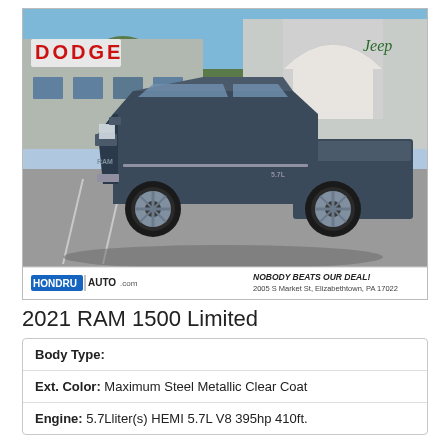[Figure (photo): 2021 RAM 1500 Limited pickup truck, dark steel blue/gray color, parked in front of Hondru Auto dealership (Dodge and Jeep signs visible). Bottom banner shows HONDRU AUTO.COM logo and 'NOBODY BEATS OUR DEAL! 2005 S Market St, Elizabethtown, PA 17022']
2021 RAM 1500 Limited
| Body Type: |  |
| Ext. Color: | Maximum Steel Metallic Clear Coat |
| Engine: | 5.7Lliter(s) HEMI 5.7L V8 395hp 410ft. |